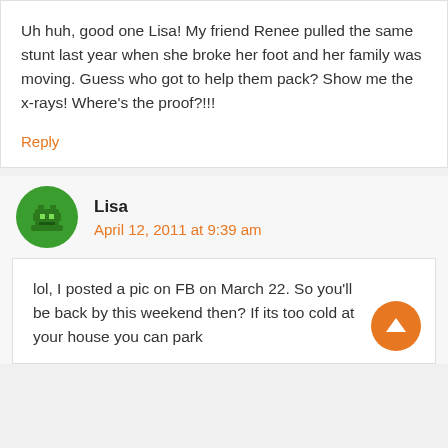Uh huh, good one Lisa! My friend Renee pulled the same stunt last year when she broke her foot and her family was moving. Guess who got to help them pack? Show me the x-rays! Where’s the proof?!!!
Reply
Lisa
April 12, 2011 at 9:39 am
lol, I posted a pic on FB on March 22. So you’ll be back by this weekend then? If its too cold at your house you can park